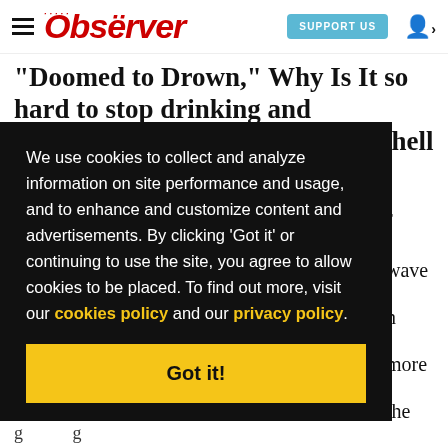Observer — SUPPORT US
"Doomed to Drown," Why Is It so hard to stop drinking and smoking?" Well, you picked one hell of a time to quit.
We use cookies to collect and analyze information on site performance and usage, and to enhance and customize content and advertisements. By clicking 'Got it' or continuing to use the site, you agree to allow cookies to be placed. To find out more, visit our cookies policy and our privacy policy.
Got it!